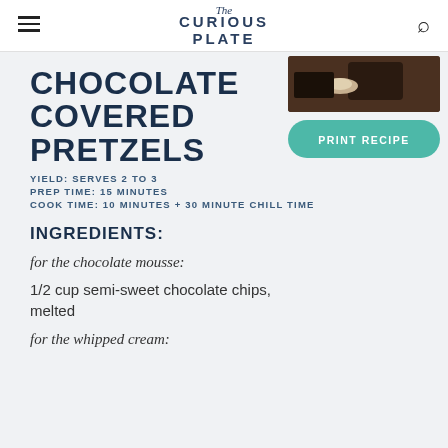The Curious Plate
CHOCOLATE COVERED PRETZELS
YIELD: SERVES 2 TO 3
PREP TIME: 15 MINUTES
COOK TIME: 10 MINUTES + 30 MINUTE CHILL TIME
INGREDIENTS:
for the chocolate mousse:
1/2 cup semi-sweet chocolate chips, melted
for the whipped cream: